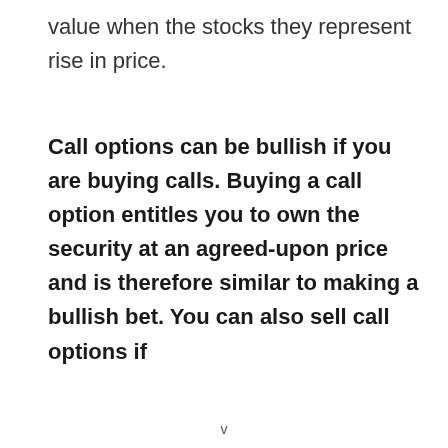value when the stocks they represent rise in price.
Call options can be bullish if you are buying calls. Buying a call option entitles you to own the security at an agreed-upon price and is therefore similar to making a bullish bet. You can also sell call options if
v